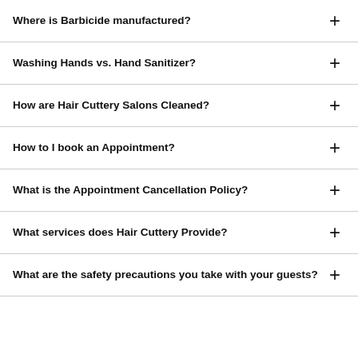Where is Barbicide manufactured?
Washing Hands vs. Hand Sanitizer?
How are Hair Cuttery Salons Cleaned?
How to I book an Appointment?
What is the Appointment Cancellation Policy?
What services does Hair Cuttery Provide?
What are the safety precautions you take with your guests?